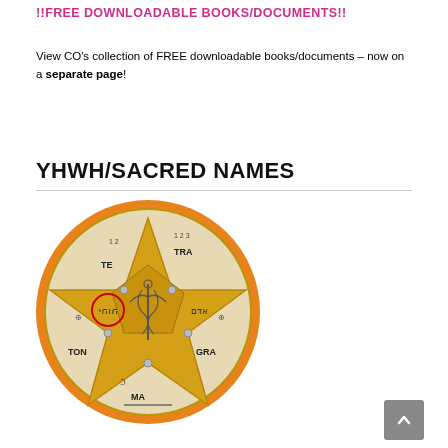!!FREE DOWNLOADABLE BOOKS/DOCUMENTS!!
View CO’s collection of FREE downloadable books/documents – now on a separate page!
YHWH/SACRED NAMES
[Figure (illustration): A circular disc illustration depicting a Tetragrammaton/pentagram symbol with a golden five-pointed star, Hebrew text (YHWH) circled in red at left, the words TE TRA GRA MA TON arranged around the star points, a caduceus symbol in the center, and various other markings on a marble-like background with orange border.]